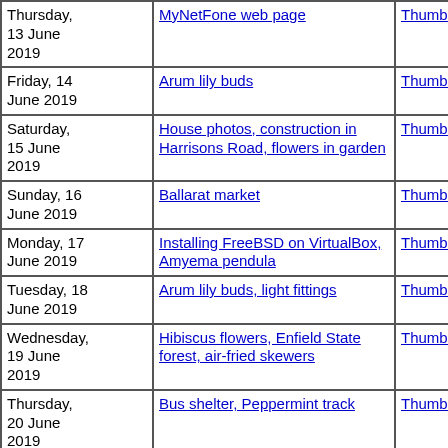| Date | Topic | Thumbnails | Small photos | diary |
| --- | --- | --- | --- | --- |
| Thursday, 13 June 2019 | MyNetFone web page | Thumbnails | Small photos | diary |
| Friday, 14 June 2019 | Arum lily buds | Thumbnails | Small photos | diary |
| Saturday, 15 June 2019 | House photos, construction in Harrisons Road, flowers in garden | Thumbnails | Small photos | diary |
| Sunday, 16 June 2019 | Ballarat market | Thumbnails | Small photos | diary |
| Monday, 17 June 2019 | Installing FreeBSD on VirtualBox, Amyema pendula | Thumbnails | Small photos | diary |
| Tuesday, 18 June 2019 | Arum lily buds, light fittings | Thumbnails | Small photos | diary |
| Wednesday, 19 June 2019 | Hibiscus flowers, Enfield State forest, air-fried skewers | Thumbnails | Small photos | diary |
| Thursday, 20 June 2019 | Bus shelter, Peppermint track | Thumbnails | Small photos | diary |
| Friday, 21 |  |  | Small |  |